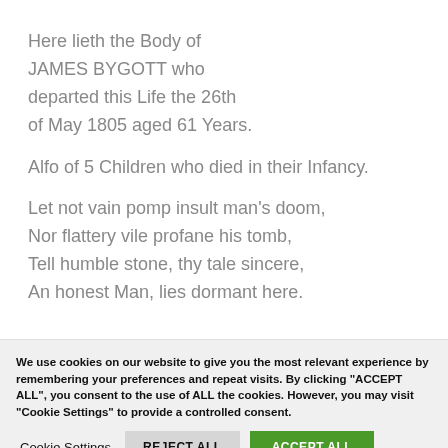Here lieth the Body of JAMES BYGOTT who departed this Life the 26th of May 1805 aged 61 Years.

Alfo of 5 Children who died in their Infancy.

Let not vain pomp insult man's doom,
Nor flattery vile profane his tomb,
Tell humble stone, thy tale sincere,
An honest Man, lies dormant here.
We use cookies on our website to give you the most relevant experience by remembering your preferences and repeat visits. By clicking "ACCEPT ALL", you consent to the use of ALL the cookies. However, you may visit "Cookie Settings" to provide a controlled consent.